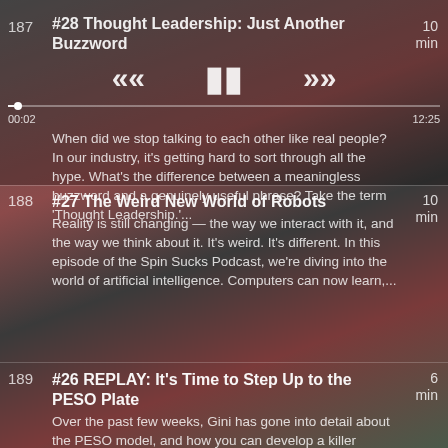[Figure (screenshot): Podcast app episode list screenshot. Episode 187 (#28 Thought Leadership: Just Another Buzzword) is playing with media controls (rewind, pause, fast-forward), progress bar showing 00:02 / 12:25, and description. Episodes 188 (#27 The Weird New World of Robots, 10 min), 189 (#26 REPLAY: It's Time to Step Up to the PESO Plate, 6 min), 190 (#25 From Memes to Strategy: Leveraging, 11 min) are listed below.]